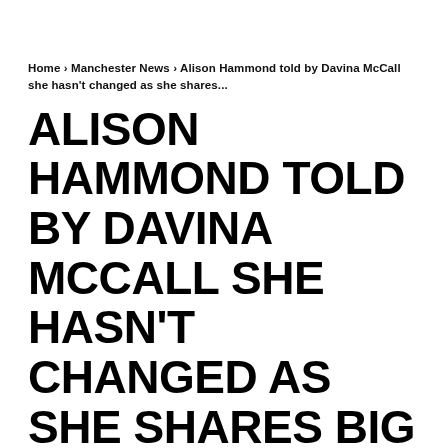Home › Manchester News › Alison Hammond told by Davina McCall she hasn't changed as she shares...
ALISON HAMMOND TOLD BY DAVINA MCCALL SHE HASN'T CHANGED AS SHE SHARES BIG BROTHER AUDITION TAPE FROM 20 YEARS AGO
MANCHESTER NEWS
PUBLISHED ON